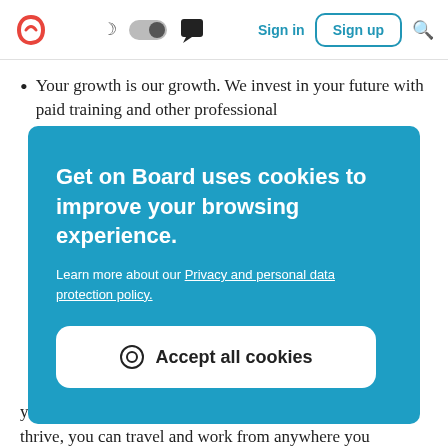Get on Board — Sign in | Sign up
Your growth is our growth. We invest in your future with paid training and other professional
Get on Board uses cookies to improve your browsing experience. Learn more about our Privacy and personal data protection policy.
Accept all cookies
you have a stable internet connection and the drive to thrive, you can travel and work from anywhere you